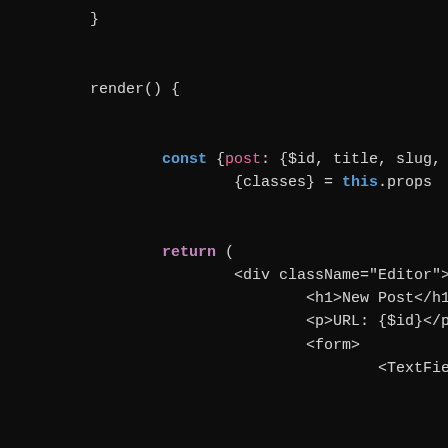[Figure (screenshot): Dark-themed code editor screenshot showing a JavaScript/JSX render() method with const destructuring and JSX return block including div, h1, p, form, and TextField components with props like label, value, onChange, margin, and className.]